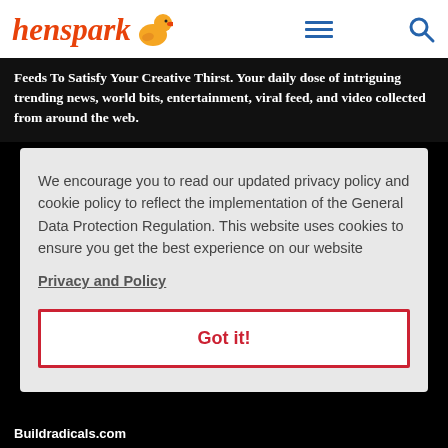henspark [logo with duck icon] [hamburger menu] [search icon]
Feeds To Satisfy Your Creative Thirst. Your daily dose of intriguing trending news, world bits, entertainment, viral feed, and video collected from around the web.
We encourage you to read our updated privacy policy and cookie policy to reflect the implementation of the General Data Protection Regulation. This website uses cookies to ensure you get the best experience on our website
Privacy and Policy
Got it!
Buildradicals.com